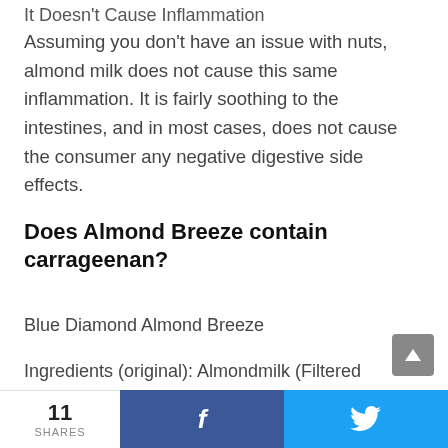It Doesn't Cause Inflammation
Assuming you don't have an issue with nuts, almond milk does not cause this same inflammation. It is fairly soothing to the intestines, and in most cases, does not cause the consumer any negative digestive side effects.
Does Almond Breeze contain carrageenan?
Blue Diamond Almond Breeze
Ingredients (original): Almondmilk (Filtered Water, Almonds), Cane Sugar, Calcium Carbonate, Sea
11 SHARES